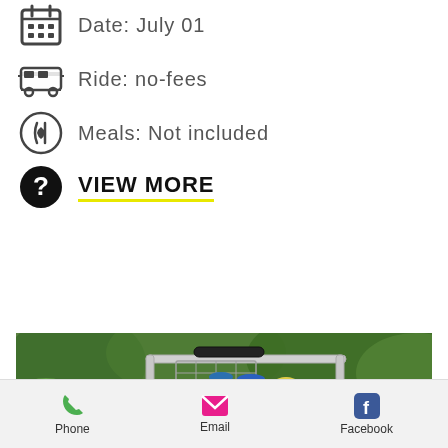Date: July 01
Ride: no-fees
Meals: Not included
VIEW MORE
[Figure (photo): Children riding in an open-air vehicle (buggy/tram) through green foliage; a gold circle with an upward chevron arrow overlaid at bottom-right of image]
Phone  Email  Facebook